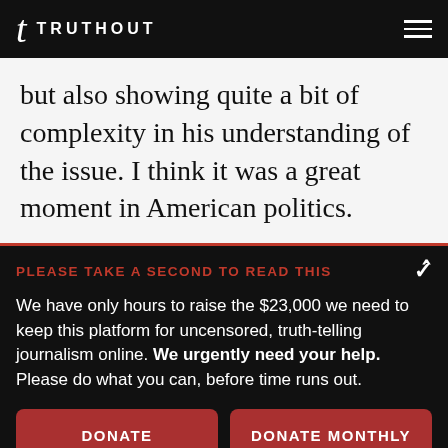TRUTHOUT
but also showing quite a bit of complexity in his understanding of the issue. I think it was a great moment in American politics.
PLEASE TAKE A SECOND TO READ THIS
We have only hours to raise the $23,000 we need to keep this platform for uncensored, truth-telling journalism online. We urgently need your help. Please do what you can, before time runs out.
DONATE
DONATE MONTHLY